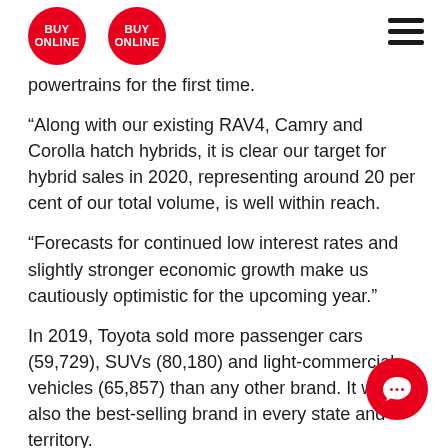BUY ONLINE | BUY ONLINE | [hamburger menu]
powertrains for the first time.
“Along with our existing RAV4, Camry and Corolla hatch hybrids, it is clear our target for hybrid sales in 2020, representing around 20 per cent of our total volume, is well within reach.
“Forecasts for continued low interest rates and slightly stronger economic growth make us cautiously optimistic for the upcoming year.”
In 2019, Toyota sold more passenger cars (59,729), SUVs (80,180) and light-commercial vehicles (65,857) than any other brand. It was also the best-selling brand in every state and territory.
RAV4 – with a new-generation vehicle that arr… May – was Toyota’s most popular SUV with an a…e high of 24,260 sales, a gain of 9.5 per cent over the